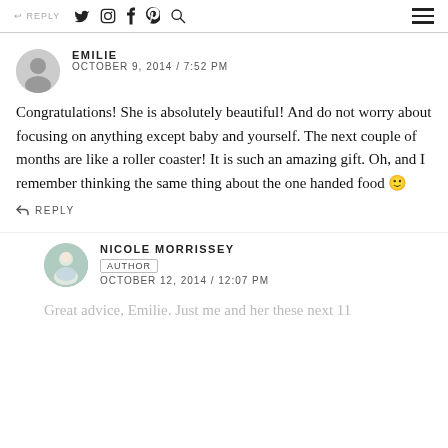REPLY — social icons (twitter, instagram, facebook, pinterest, search) and hamburger menu
EMILIE
OCTOBER 9, 2014 / 7:52 PM
Congratulations! She is absolutely beautiful! And do not worry about focusing on anything except baby and yourself. The next couple of months are like a roller coaster! It is such an amazing gift. Oh, and I remember thinking the same thing about the one handed food 🙂
REPLY
NICOLE MORRISSEY
AUTHOR
OCTOBER 12, 2014 / 12:07 PM
Great advice, Emilie. Just me and her these next 11 weeks. I can't wait to soak it all up!